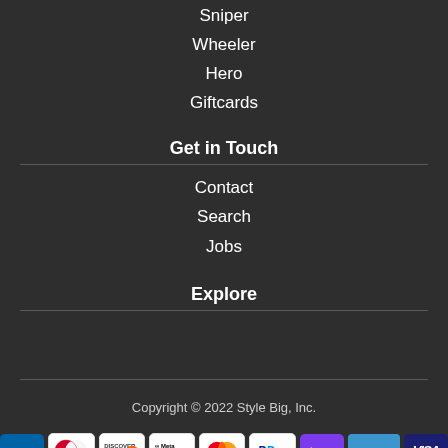Sniper
Wheeler
Hero
Giftcards
Get in Touch
Contact
Search
Jobs
Explore
Copyright © 2022 Style Big, Inc.
[Figure (other): Payment method icons: American Express, Diners Club, Discover, Meta Pay, Mastercard, PayPal, G Pay, Venmo, Visa]